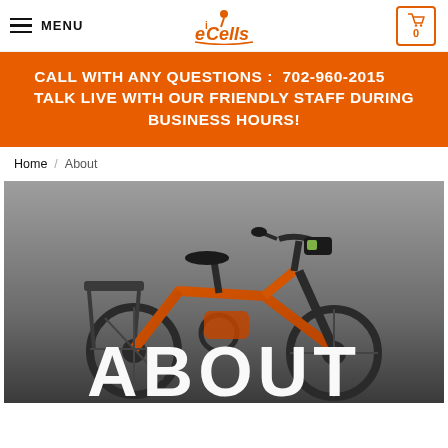≡ MENU   eCells logo   0 (cart)
CALL WITH ANY QUESTIONS :  702-960-2015      TALK LIVE WITH OUR FRIENDLY STAFF DURING BUSINESS HOURS!
Home / About
[Figure (photo): Hero image of an orange electric bicycle on a dark grey background with 'ABOUT' text overlaid in large white letters at the bottom]